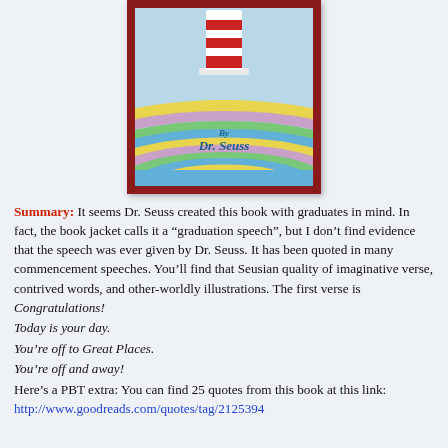[Figure (illustration): Dr. Seuss book cover with colorful swirling rainbow stripes, the Cat in the Hat hat visible at top, and 'By Dr. Seuss' text in blue script at center]
Summary: It seems Dr. Seuss created this book with graduates in mind. In fact, the book jacket calls it a “graduation speech”, but I don’t find evidence that the speech was ever given by Dr. Seuss. It has been quoted in many commencement speeches. You’ll find that Seusian quality of imaginative verse, contrived words, and other-worldly illustrations. The first verse is
Congratulations!
Today is your day.
You’re off to Great Places.
You’re off and away!
Here’s a PBT extra: You can find 25 quotes from this book at this link: http://www.goodreads.com/quotes/tag/2125394